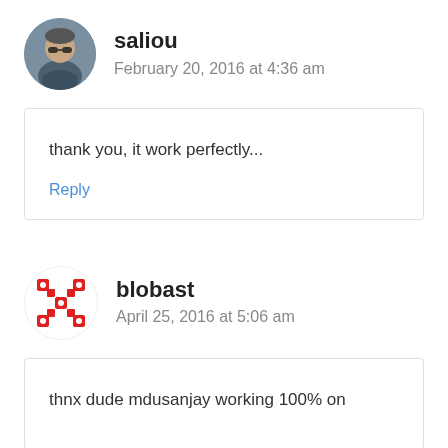[Figure (photo): Circular avatar photo of user saliou, a man wearing sunglasses and a jacket]
saliou
February 20, 2016 at 4:36 am
thank you, it work perfectly...
Reply
[Figure (logo): Circular decorative avatar for user blobast, red and white geometric pattern]
blobast
April 25, 2016 at 5:06 am
thnx dude mdusanjay working 100% on